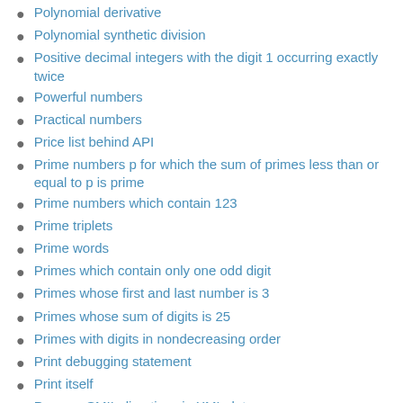Polynomial derivative
Polynomial synthetic division
Positive decimal integers with the digit 1 occurring exactly twice
Powerful numbers
Practical numbers
Price list behind API
Prime numbers p for which the sum of primes less than or equal to p is prime
Prime numbers which contain 123
Prime triplets
Prime words
Primes which contain only one odd digit
Primes whose first and last number is 3
Primes whose sum of digits is 25
Primes with digits in nondecreasing order
Print debugging statement
Print itself
Process SMIL directives in XML data
Product of divisors
Proof
Pseudorandom number generator image